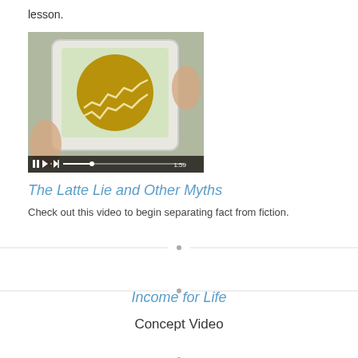lesson.
[Figure (screenshot): Video thumbnail showing hands holding a tablet with a chart on screen; video player controls visible at bottom showing duration 1:59]
The Latte Lie and Other Myths
Check out this video to begin separating fact from fiction.
Income for Life
Concept Video